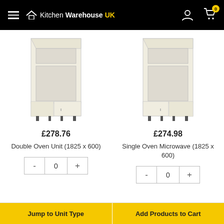KitchenWarehouseUK
[Figure (photo): Double oven kitchen unit cabinet, cream/white finish, tall unit with open oven space and lower door compartment with adjustable legs]
£278.76
Double Oven Unit (1825 x 600)
[Figure (photo): Single oven microwave kitchen unit cabinet, cream/white finish, tall unit with open oven space and lower side compartment with adjustable legs]
£274.98
Single Oven Microwave (1825 x 600)